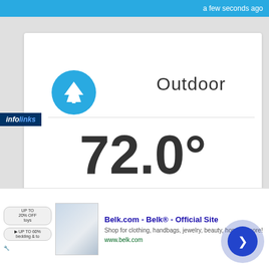a few seconds ago
Outdoor
72.0°
Dew Point
70.5°F
From Yesterday
↑ 6.2°F
Feels Like
73.4°F
[Figure (screenshot): Infolinks logo and Belk.com advertisement banner at bottom of page]